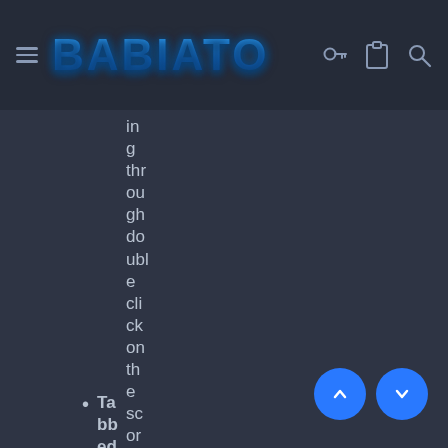BABIATO [navigation bar with hamburger menu, key icon, clipboard icon, search icon]
ing throughout double click on the score area.
Tabbed